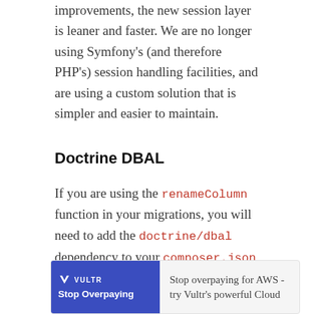improvements, the new session layer is leaner and faster. We are no longer using Symfony's (and therefore PHP's) session handling facilities, and are using a custom solution that is simpler and easier to maintain.
Doctrine DBAL
If you are using the renameColumn function in your migrations, you will need to add the doctrine/dbal dependency to your composer.json file. This package is no longer included in Laravel by default.
[Figure (other): Advertisement banner for Vultr cloud hosting. Left side shows blue Vultr logo panel with 'Stop Overpaying' text. Right side says 'Stop overpaying for AWS - try Vultr's powerful Cloud']